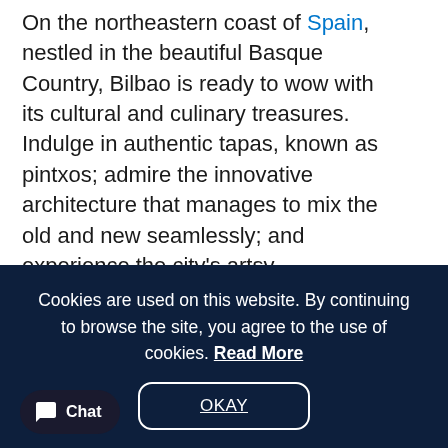On the northeastern coast of Spain, nestled in the beautiful Basque Country, Bilbao is ready to wow with its cultural and culinary treasures. Indulge in authentic tapas, known as pintxos; admire the innovative architecture that manages to mix the old and new seamlessly; and experience the city's artsy atmosphere and diverse set of neighborhoods.
Buildings along the river in Bilbao
Cookies are used on this website. By continuing to browse the site, you agree to the use of cookies. Read More
OKAY
Chat